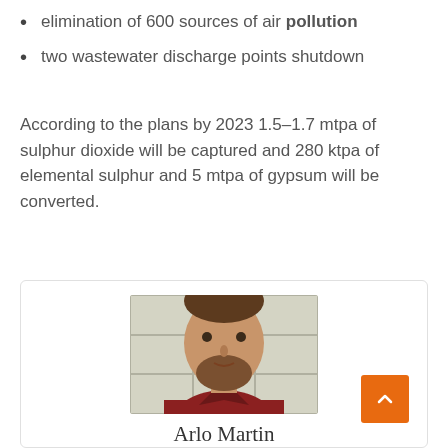elimination of 600 sources of air pollution
two wastewater discharge points shutdown
According to the plans by 2023 1.5–1.7 mtpa of sulphur dioxide will be captured and 280 ktpa of elemental sulphur and 5 mtpa of gypsum will be converted.
[Figure (photo): Headshot photo of a young man with short brown hair and a beard, wearing a red plaid shirt, standing in front of a tiled wall. Name caption below reads Arlo Martin.]